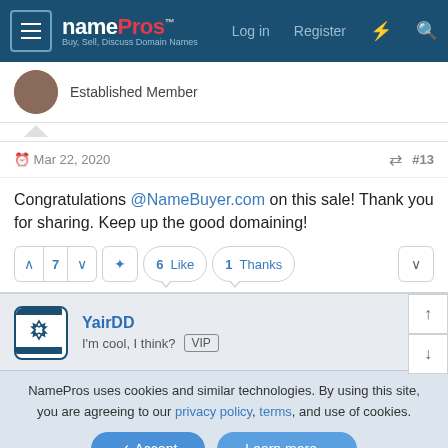namePros - Buy, Sell, Discuss Domain Names | Log in | Register
Established Member
Mar 22, 2020  #13
Congratulations @NameBuyer.com on this sale! Thank you for sharing. Keep up the good domaining!
YairDD
I'm cool, I think? VIP
NamePros uses cookies and similar technologies. By using this site, you are agreeing to our privacy policy, terms, and use of cookies.